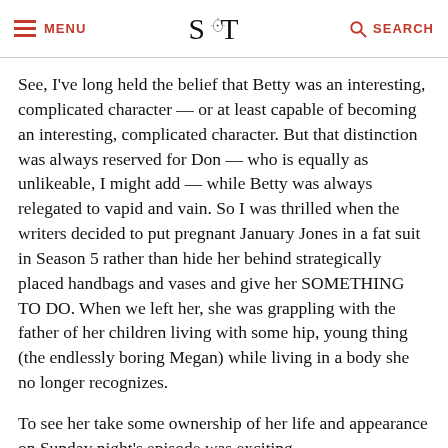MENU  S T  SEARCH
See, I've long held the belief that Betty was an interesting, complicated character — or at least capable of becoming an interesting, complicated character. But that distinction was always reserved for Don — who is equally as unlikeable, I might add — while Betty was always relegated to vapid and vain. So I was thrilled when the writers decided to put pregnant January Jones in a fat suit in Season 5 rather than hide her behind strategically placed handbags and vases and give her SOMETHING TO DO. When we left her, she was grappling with the father of her children living with some hip, young thing (the endlessly boring Megan) while living in a body she no longer recognizes.
To see her take some ownership of her life and appearance on Sunday night's episode was exciting.
Don't get me wrong, I still love my homegirls Joan (WTF